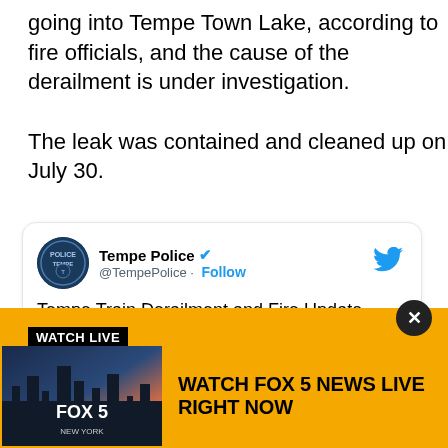going into Tempe Town Lake, according to fire officials, and the cause of the derailment is under investigation.
The leak was contained and cleaned up on July 30.
[Figure (screenshot): Embedded tweet from @TempePolice with header 'Tempe Train Derailment and Fire Update' and images of police, fire, and city logos on dark grey background]
[Figure (infographic): Fox 5 News 'Watch Live' advertisement banner with yellow background, black Watch Live label, Fox 5 New York thumbnail, and text 'WATCH FOX 5 NEWS LIVE RIGHT NOW']